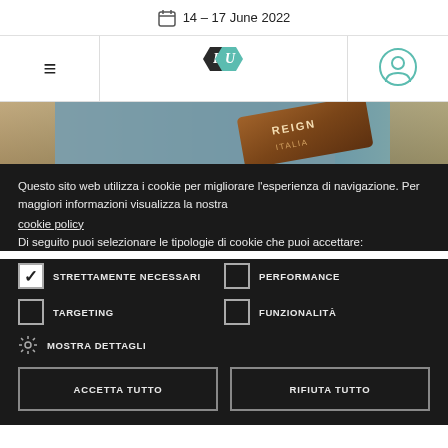14 - 17 June 2022
[Figure (logo): PU hexagon logo - two interlocking hexagons, one dark with P and one teal with U]
[Figure (photo): Close-up photo of denim jeans with a leather label reading REIGN ITALIA]
Questo sito web utilizza i cookie per migliorare l'esperienza di navigazione. Per maggiori informazioni visualizza la nostra cookie policy
Di seguito puoi selezionare le tipologie di cookie che puoi accettare:
STRETTAMENTE NECESSARI (checked)
PERFORMANCE (unchecked)
TARGETING (unchecked)
FUNZIONALITÀ (unchecked)
MOSTRA DETTAGLI
ACCETTA TUTTO | RIFIUTA TUTTO